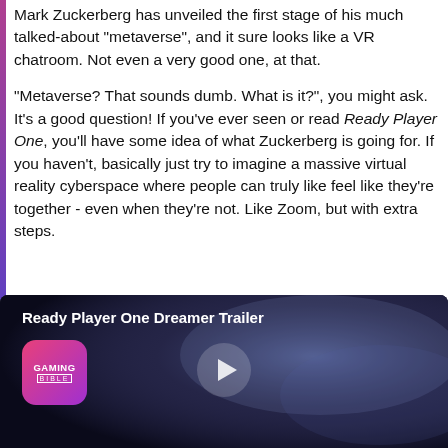Mark Zuckerberg has unveiled the first stage of his much talked-about "metaverse", and it sure looks like a VR chatroom. Not even a very good one, at that.
"Metaverse? That sounds dumb. What is it?", you might ask. It's a good question! If you've ever seen or read Ready Player One, you'll have some idea of what Zuckerberg is going for. If you haven't, basically just try to imagine a massive virtual reality cyberspace where people can truly like feel like they're together - even when they're not. Like Zoom, but with extra steps.
[Figure (screenshot): Video thumbnail for 'Ready Player One Dreamer Trailer' with Gaming Bible logo in top left and a play button in the center, dark blue/purple atmospheric background.]